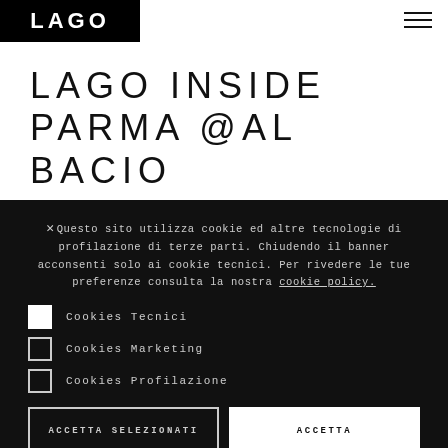[Figure (logo): LAGO logo, white text on black rectangle background]
LAGO INSIDE PARMA @AL BACIO
×Questo sito utilizza cookie ed altre tecnologie di profilazione di terze parti. Chiudendo il banner acconsenti solo ai cookie tecnici. Per rivedere le tue preferenze consulta la nostra cookie policy.
Cookies Tecnici
Cookies Marketing
Cookies Profilazione
ACCETTA SELEZIONATI
ACCETTA
Preferenze